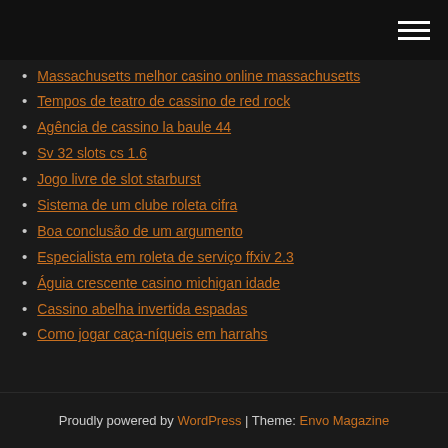(hamburger menu icon)
Massachusetts melhor casino online massachusetts
Tempos de teatro de cassino de red rock
Agência de cassino la baule 44
Sv 32 slots cs 1.6
Jogo livre de slot starburst
Sistema de um clube roleta cifra
Boa conclusão de um argumento
Especialista em roleta de serviço ffxiv 2.3
Águia crescente casino michigan idade
Cassino abelha invertida espadas
Como jogar caça-níqueis em harrahs
Proudly powered by WordPress | Theme: Envo Magazine